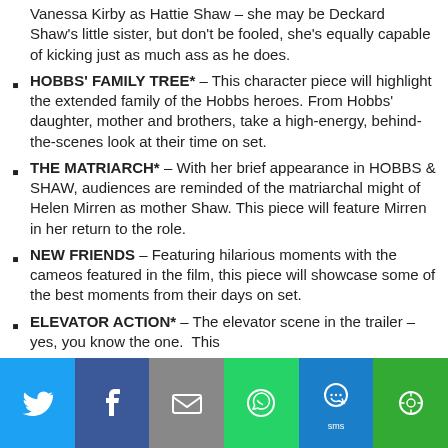Vanessa Kirby as Hattie Shaw – she may be Deckard Shaw's little sister, but don't be fooled, she's equally capable of kicking just as much ass as he does.
HOBBS' FAMILY TREE* – This character piece will highlight the extended family of the Hobbs heroes. From Hobbs' daughter, mother and brothers, take a high-energy, behind-the-scenes look at their time on set.
THE MATRIARCH* – With her brief appearance in HOBBS & SHAW, audiences are reminded of the matriarchal might of Helen Mirren as mother Shaw. This piece will feature Mirren in her return to the role.
NEW FRIENDS – Featuring hilarious moments with the cameos featured in the film, this piece will showcase some of the best moments from their days on set.
ELEVATOR ACTION* – The elevator scene in the trailer – yes, you know the one.  This